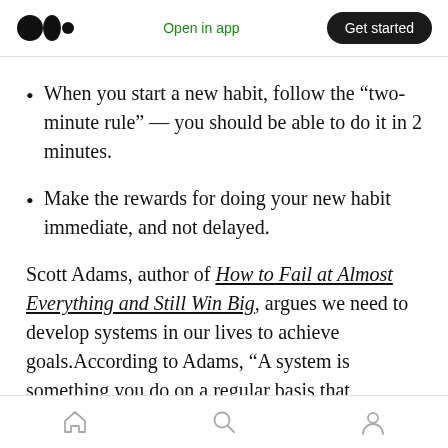Open in app  Get started
When you start a new habit, follow the “two-minute rule” — you should be able to do it in 2 minutes.
Make the rewards for doing your new habit immediate, and not delayed.
Scott Adams, author of How to Fail at Almost Everything and Still Win Big, argues we need to develop systems in our lives to achieve goals.According to Adams, “A system is something you do on a regular basis that
Home  Search  Profile